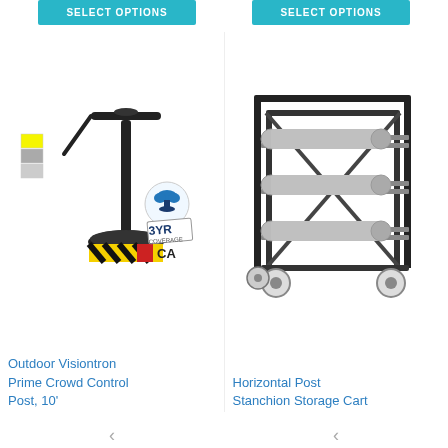[Figure (other): SELECT OPTIONS button (teal/cyan background, white bold uppercase text) on left side]
[Figure (other): SELECT OPTIONS button (teal/cyan background, white bold uppercase text) on right side]
[Figure (photo): Outdoor Visiontron Prime Crowd Control Post, 10 foot. Black retractable belt stanchion post on a round base, with yellow/black/red hazard stripe web base wrap, color swatch chips (yellow and grey), a cloud/wind icon with '3YR COVERAGE' badge, and 'CA' text label on the base web.]
Outdoor Visiontron Prime Crowd Control Post, 10'
[Figure (photo): Horizontal Post Stanchion Storage Cart. A black metal cart with multiple tiers holding horizontal stainless steel/chrome stanchion posts on casters/wheels, shown from a front-angle view.]
Horizontal Post Stanchion Storage Cart